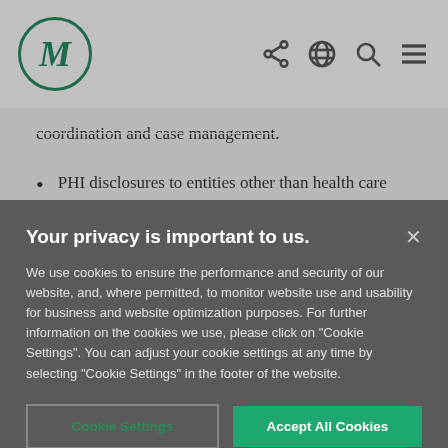M [logo] | share | globe | search | menu
coordination and case management.
PHI disclosures to entities other than health care providers and health plans (for
Your privacy is important to us.
We use cookies to ensure the performance and security of our website, and, where permitted, to monitor website use and usability for business and website optimization purposes. For further information on the cookies we use, please click on "Cookie Settings". You can adjust your cookie settings at any time by selecting "Cookie Settings" in the footer of the website.